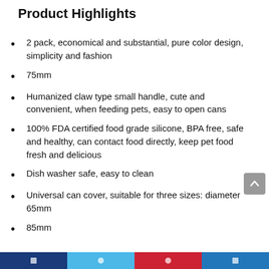Product Highlights
2 pack, economical and substantial, pure color design, simplicity and fashion
75mm
Humanized claw type small handle, cute and convenient, when feeding pets, easy to open cans
100% FDA certified food grade silicone, BPA free, safe and healthy, can contact food directly, keep pet food fresh and delicious
Dish washer safe, easy to clean
Universal can cover, suitable for three sizes: diameter 65mm
85mm